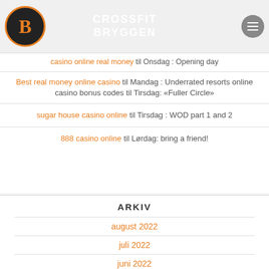CROSSFIT BRYGGEN
casino online real money til Onsdag : Opening day
Best real money online casino til Mandag : Underrated resorts online casino bonus codes til Tirsdag: «Fuller Circle»
sugar house casino online til Tirsdag : WOD part 1 and 2
888 casino online til Lørdag: bring a friend!
ARKIV
august 2022
juli 2022
juni 2022
mai 2022